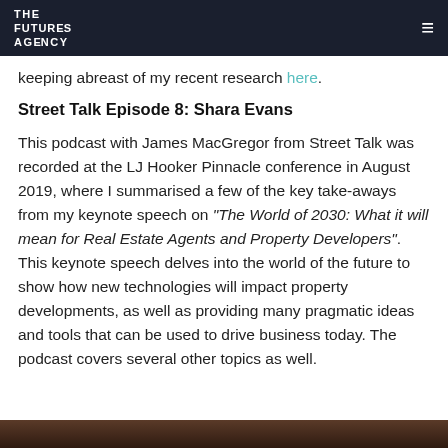THE FUTURES AGENCY
keeping abreast of my recent research here.
Street Talk Episode 8: Shara Evans
This podcast with James MacGregor from Street Talk was recorded at the LJ Hooker Pinnacle conference in August 2019, where I summarised a few of the key take-aways from my keynote speech on "The World of 2030: What it will mean for Real Estate Agents and Property Developers". This keynote speech delves into the world of the future to show how new technologies will impact property developments, as well as providing many pragmatic ideas and tools that can be used to drive business today. The podcast covers several other topics as well.
[Figure (photo): Bottom portion of a photo visible at the bottom of the page]